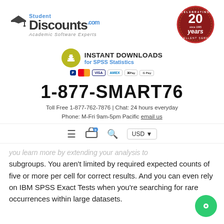[Figure (logo): StudentDiscounts.com logo with graduation cap and 'Academic Software Experts' tagline, plus '20 Years Celebrating since 1995 Excellent Service' badge]
[Figure (infographic): Instant Downloads for SPSS Statistics banner with download arrow icon and payment method icons (PayPal, Mastercard, Visa, Amex, Apple Pay, Google Pay)]
1-877-SMART76
Toll Free 1-877-762-7876 | Chat: 24 hours everyday
Phone: M-Fri 9am-5pm Pacific email us
[Figure (screenshot): Navigation bar with hamburger menu, shopping cart with 0 badge, search icon, and USD currency selector]
you learn more by extending your analysis to subgroups. You aren't limited by required expected counts of five or more per cell for correct results. And you can even rely on IBM SPSS Exact Tests when you're searching for rare occurrences within large datasets.